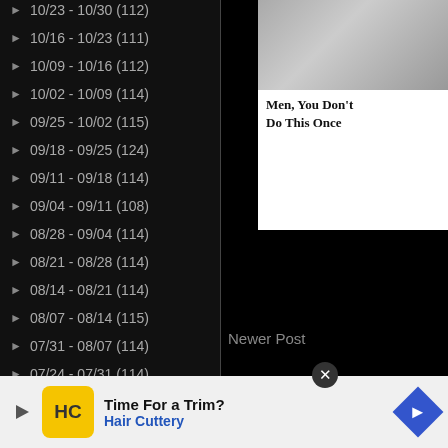10/23 - 10/30 (112)
10/16 - 10/23 (111)
10/09 - 10/16 (112)
10/02 - 10/09 (114)
09/25 - 10/02 (115)
09/18 - 09/25 (124)
09/11 - 09/18 (114)
09/04 - 09/11 (108)
08/28 - 09/04 (114)
08/21 - 08/28 (114)
08/14 - 08/21 (114)
08/07 - 08/14 (115)
07/31 - 08/07 (114)
07/24 - 07/31 (114)
07/17 - 07/24 (114)
07...
Newer Post
Sponsored Content
[Figure (photo): Person with glasses looking to the side, outdoors background]
[Figure (photo): Ad banner top right showing people and text: Men, You Don't Do This Once]
Time For a Trim? Hair Cuttery